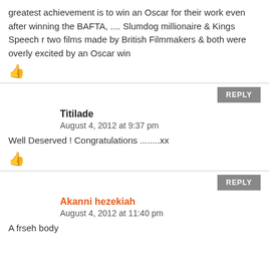greatest achievement is to win an Oscar for their work even after winning the BAFTA, .... Slumdog millionaire & Kings Speech r two films made by British Filmmakers & both were overly excited by an Oscar win
Titilade
August 4, 2012 at 9:37 pm
Well Deserved ! Congratulations ........xx
Akanni hezekiah
August 4, 2012 at 11:40 pm
A frseh body